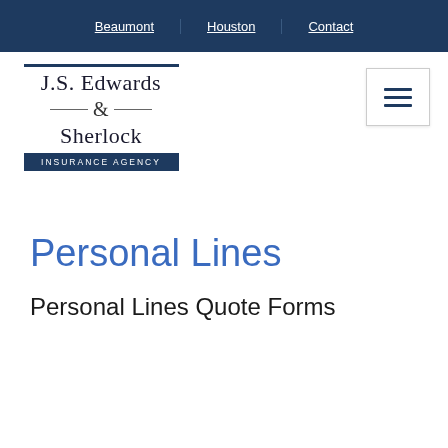Beaumont | Houston | Contact
[Figure (logo): J.S. Edwards & Sherlock Insurance Agency logo with dark blue banner]
Personal Lines
Personal Lines Quote Forms